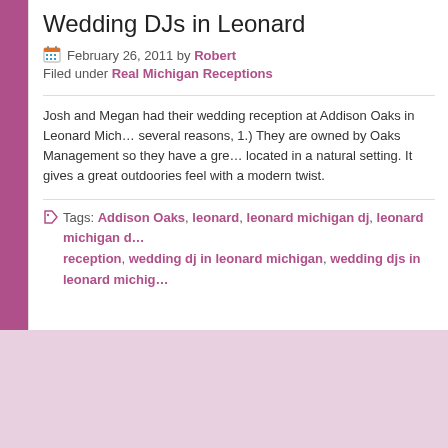Wedding DJs in Leonard
February 26, 2011 by Robert
Filed under Real Michigan Receptions
Josh and Megan had their wedding reception at Addison Oaks in Leonard Mich… several reasons, 1.) They are owned by Oaks Management so they have a gre… located in a natural setting. It gives a great outdoories feel with a modern twist.
Tags: Addison Oaks, leonard, leonard michigan dj, leonard michigan d… reception, wedding dj in leonard michigan, wedding djs in leonard michig…